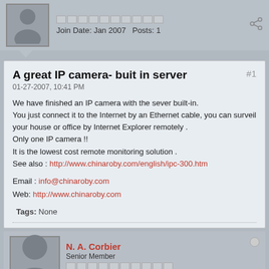[Figure (other): Forum user avatar placeholder with gray silhouette, progress bar dots, Join Date: Jan 2007, Posts: 1]
A great IP camera- buit in server
01-27-2007, 10:41 PM
We have finished an IP camera with the sever built-in.
You just connect it to the Internet by an Ethernet cable, you can surveil your house or office by Internet Explorer remotely .
Only one IP camera !!
It is the lowest cost remote monitoring solution .
See also : http://www.chinaroby.com/english/ipc-300.htm
Email : info@chinaroby.com
Web: http://www.chinaroby.com
Tags: None
[Figure (other): Forum user avatar for N. A. Corbier, Senior Member, Join Date: Aug 2005, Posts: 7369]